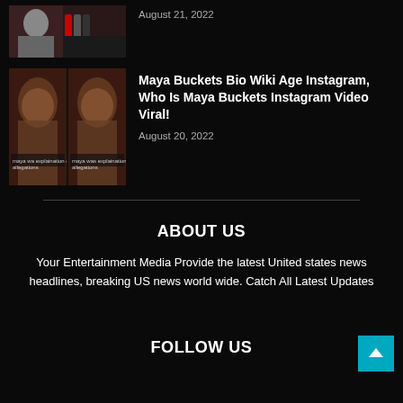[Figure (photo): Thumbnail photo of a woman at a press conference with microphones]
August 21, 2022
[Figure (photo): Two side-by-side thumbnails of Maya Buckets video]
Maya Buckets Bio Wiki Age Instagram, Who Is Maya Buckets Instagram Video Viral!
August 20, 2022
ABOUT US
Your Entertainment Media Provide the latest United states news headlines, breaking US news world wide. Catch All Latest Updates
FOLLOW US